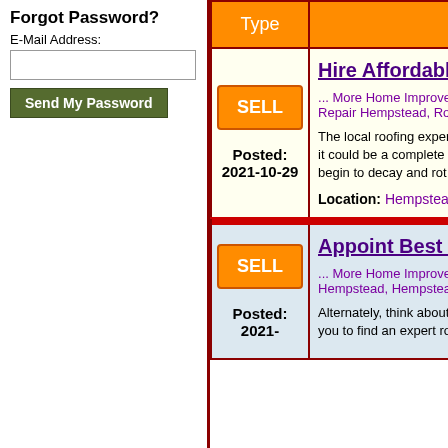Forgot Password?
E-Mail Address:
Send My Password
| Type |  |
| --- | --- |
| SELL
Posted: 2021-10-29 | Hire Affordable a...
... More Home Improvement
Repair Hempstead, Roofi...
The local roofing experts ... it could be a complete rep... begin to decay and rot aw...
Location: Hempstead, U... |
| SELL
Posted: 2021- | Appoint Best Loc...
... More Home Improvement
Hempstead, Hempstead R...
Alternately, think about co... you to find an expert roofi... |